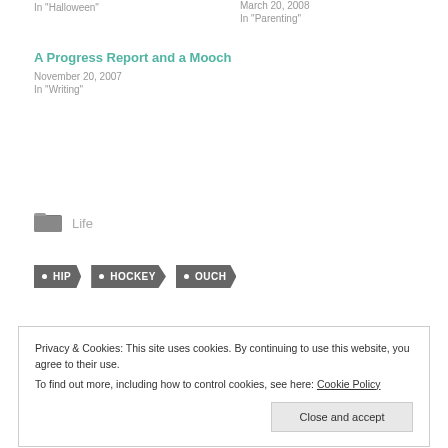In "Halloween"
March 20, 2008
In "Parenting"
A Progress Report and a Mooch
November 20, 2007
In "Writing"
Life
HIP  HOCKEY  OUCH
Privacy & Cookies: This site uses cookies. By continuing to use this website, you agree to their use.
To find out more, including how to control cookies, see here: Cookie Policy
Close and accept